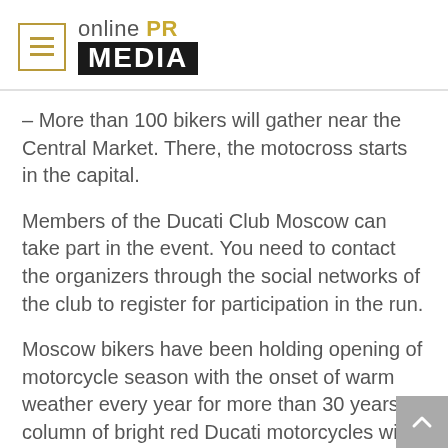[Figure (logo): Online PR Media logo with hamburger menu icon on the left, 'online PR' text in light grey with 'PR' in gold, and 'MEDIA' in white on black background below]
– More than 100 bikers will gather near the Central Market. There, the motocross starts in the capital.
Members of the Ducati Club Moscow can take part in the event. You need to contact the organizers through the social networks of the club to register for participation in the run.
Moscow bikers have been holding opening of motorcycle season with the onset of warm weather every year for more than 30 years. A column of bright red Ducati motorcycles will rush through the capital and this year. A bewitching